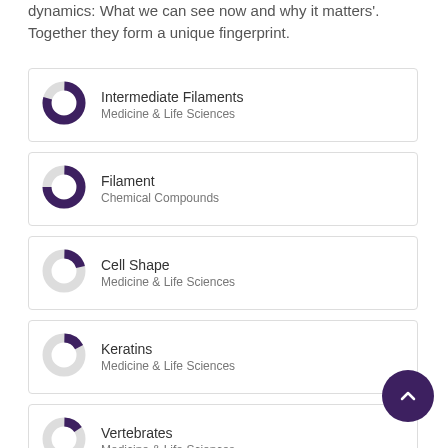dynamics: What we can see now and why it matters'. Together they form a unique fingerprint.
Intermediate Filaments — Medicine & Life Sciences
Filament — Chemical Compounds
Cell Shape — Medicine & Life Sciences
Keratins — Medicine & Life Sciences
Vertebrates — Medicine & Life Sciences
Polymers — Medicine & Life Sciences